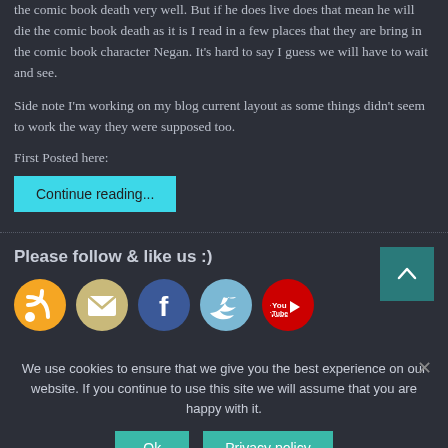the comic book death very well. But if he does live does that mean he will die the comic book death as it is I read in a few places that they are bring in the comic book character Negan. It's hard to say I guess we will have to wait and see.
Side note I'm working on my blog current layout as some things didn't seem to work the way they were supposed too.
First Posted here:
Continue reading...
Please follow & like us :)
[Figure (infographic): Social media icons: RSS (orange), Email (tan), Facebook (blue), Twitter (blue), YouTube (red/white)]
We use cookies to ensure that we give you the best experience on our website. If you continue to use this site we will assume that you are happy with it.
Ok
Privacy policy